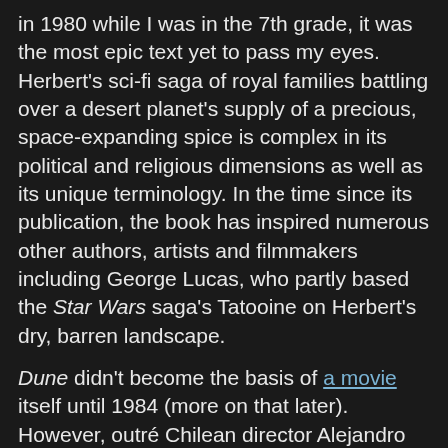in 1980 while I was in the 7th grade, it was the most epic text yet to pass my eyes. Herbert's sci-fi saga of royal families battling over a desert planet's supply of a precious, space-expanding spice is complex in its political and religious dimensions as well as its unique terminology. In the time since its publication, the book has inspired numerous other authors, artists and filmmakers including George Lucas, who partly based the Star Wars saga's Tatooine on Herbert's dry, barren landscape.
Dune didn't become the basis of a movie itself until 1984 (more on that later). However, outré Chilean director Alejandro Jodorowsky of El Topo and Santa Sangre fame/infamy was nearly the first to adapt Dune for the big screen in the mid-1970's. His strenuous efforts to produce "the greatest movie never made" are recounted in Frank Pavich's fascinating new documentary Jodorowsky's Dune, which is now playing theatrically in Los Angeles and New York City and opening in other cities next month.